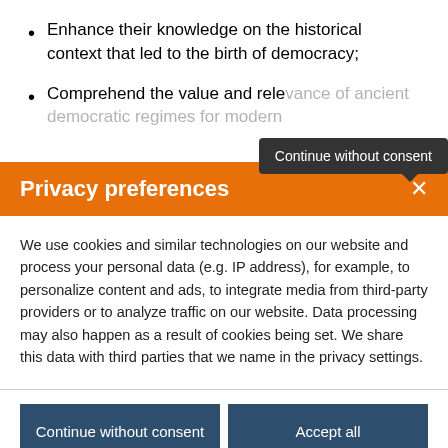Enhance their knowledge on the historical context that led to the birth of democracy;
Comprehend the value and relevance of ancient democratic regimes for modern...
Continue without consent
Privacy preferences
We use cookies and similar technologies on our website and process your personal data (e.g. IP address), for example, to personalize content and ads, to integrate media from third-party providers or to analyze traffic on our website. Data processing may also happen as a result of cookies being set. We share this data with third parties that we name in the privacy settings.
Continue without consent
Accept all
Set privacy settings individually
Privacy policy • Cookie Policy